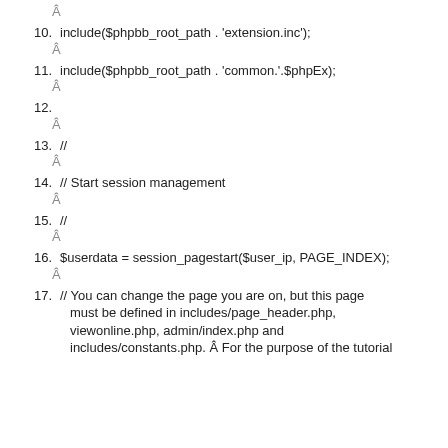Â
10. include($phpbb_root_path . 'extension.inc');
Â
11. include($phpbb_root_path . 'common.'.$phpEx);
Â
12.
Â
13. //
Â
14. // Start session management
Â
15. //
Â
16. $userdata = session_pagestart($user_ip, PAGE_INDEX);
Â
17. // You can change the page you are on, but this page must be defined in includes/page_header.php, viewonline.php, admin/index.php and includes/constants.php. Â For the purpose of the tutorial